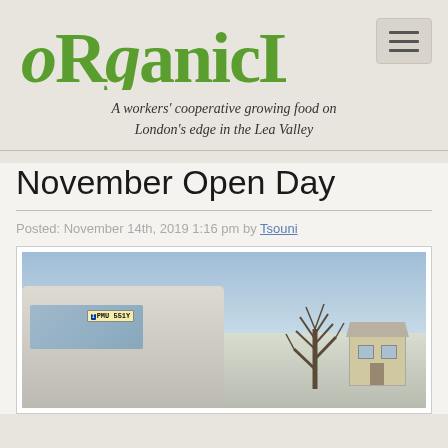[Figure (logo): Organiclea logo in green decorative font]
A workers' cooperative growing food on London's edge in the Lea Valley
November Open Day
Posted: November 14th, 2019 1:16 pm by Tsouni
[Figure (photo): Photo of an old vehicle (registration PMU 551Y) in a snowy winter scene with a bare tree and house in background]